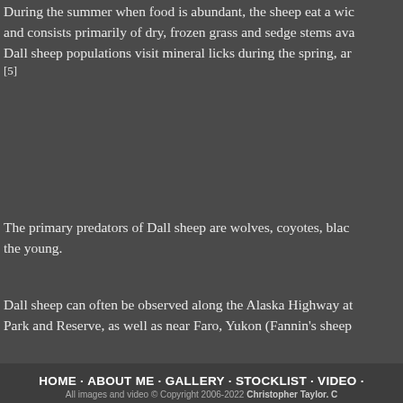During the summer when food is abundant, the sheep eat a wic and consists primarily of dry, frozen grass and sedge stems ava Dall sheep populations visit mineral licks during the spring, ar [5]
The primary predators of Dall sheep are wolves, coyotes, blac the young.
Dall sheep can often be observed along the Alaska Highway at Park and Reserve, as well as near Faro, Yukon (Fannin's sheep
[Figure (screenshot): Facebook Like button with 'Sign Up to see what your friends like.' social plugin]
HOME · ABOUT ME · GALLERY · STOCKLIST · VIDEO · All images and video © Copyright 2006-2022 Christopher Taylor. C